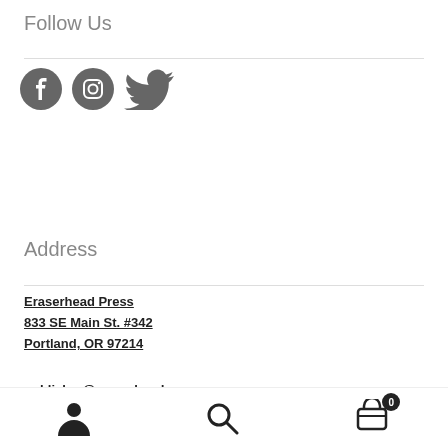Follow Us
[Figure (illustration): Three social media icons: Facebook, Instagram, Twitter in dark gray]
Address
Eraserhead Press
833 SE Main St. #342
Portland, OR 97214
publisher@eraserheadpress.com
User icon, Search icon, Cart icon with badge 0